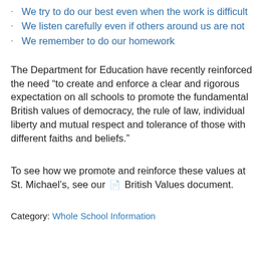We try to do our best even when the work is difficult
We listen carefully even if others around us are not
We remember to do our homework
The Department for Education have recently reinforced the need “to create and enforce a clear and rigorous expectation on all schools to promote the fundamental British values of democracy, the rule of law, individual liberty and mutual respect and tolerance of those with different faiths and beliefs.”
To see how we promote and reinforce these values at St. Michael’s, see our 📄 British Values document.
Category: Whole School Information